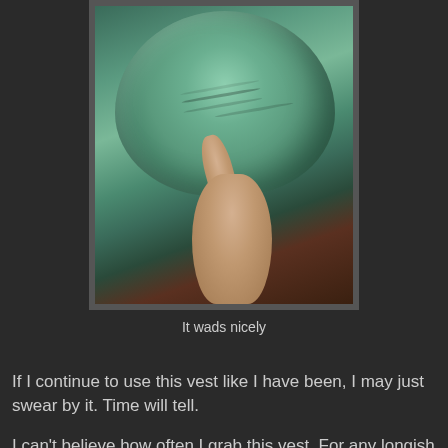[Figure (photo): A hand holding a wadded-up green vest against a dark background]
It wads nicely
If I continue to use this vest like I have been, I may just swear by it. Time will tell.
I can't believe how often I grab this vest. For any longish ride